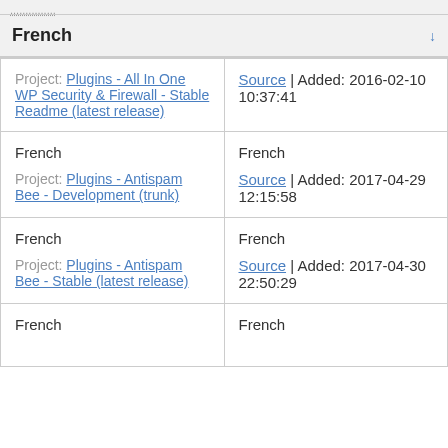| Column 1 | Column 2 |
| --- | --- |
| French (header with sort arrow) |  |
| Project: Plugins - All In One WP Security & Firewall - Stable Readme (latest release) | Source | Added: 2016-02-10 10:37:41 |
| French
Project: Plugins - Antispam Bee - Development (trunk) | French
Source | Added: 2017-04-29 12:15:58 |
| French
Project: Plugins - Antispam Bee - Stable (latest release) | French
Source | Added: 2017-04-30 22:50:29 |
| French | French |